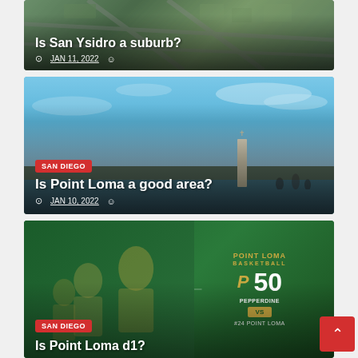[Figure (photo): Aerial photo of San Ysidro suburb with roads and housing]
Is San Ysidro a suburb?
JAN 11, 2022
[Figure (photo): Coastal view of Point Loma with monument and bay]
Is Point Loma a good area?
JAN 10, 2022
[Figure (photo): Point Loma Basketball game photo with score graphic showing PEPPERDINE 50 VS #24 POINT LOMA]
Is Point Loma d1?